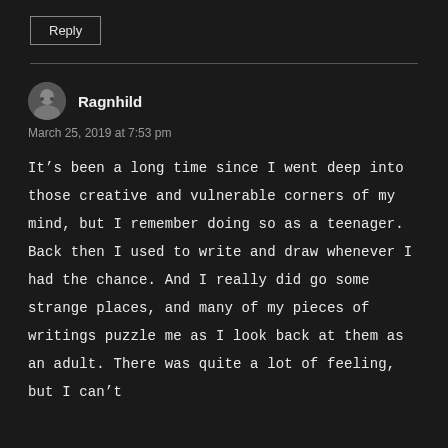Reply
Ragnhild
March 25, 2019 at 7:53 pm
It’s been a long time since I went deep into those creative and vulnerable corners of my mind, but I remember doing so as a teenager. Back then I used to write and draw whenever I had the chance. And I really did go some strange places, and many of my pieces of writings puzzle me as I look back at them as an adult. There was quite a lot of feeling, but I can’t